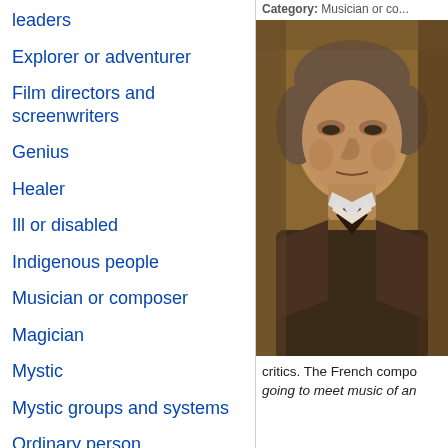leaders
Explorer or adventurer
Film directors and screenwriters
Genius
Healer
Ill or disabled
Indigenous people
Musician or composer
Magician
Mystic
Mystic groups and systems
Ordinary person
Other spiritually gifted people
Performer
Philosopher
[Figure (photo): Sepia-toned portrait photograph of an elderly man, likely Richard Wagner, with gray hair, serious expression, wearing a dark coat and cravat.]
critics. The French compo going to meet music of an ...